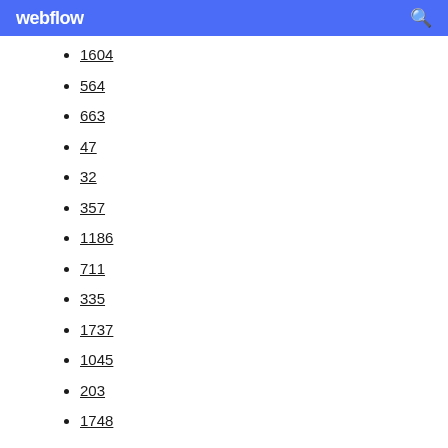webflow
1604
564
663
47
32
357
1186
711
335
1737
1045
203
1748